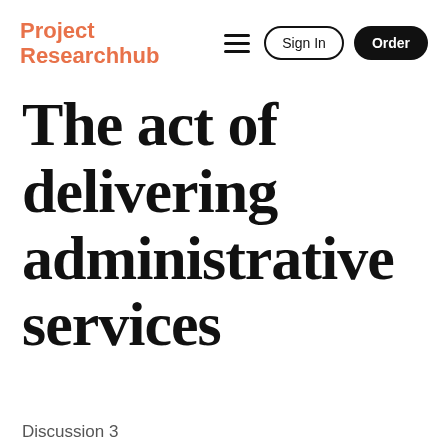Project Researchhub
The act of delivering administrative services
Discussion 3